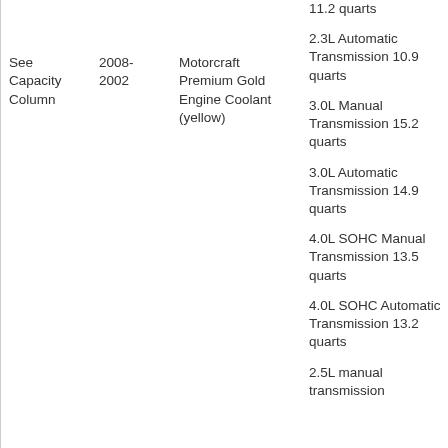|  |  | Motorcraft Premium Gold Engine Coolant (yellow) | Capacity |
| --- | --- | --- | --- |
| See Capacity Column | 2008-2002 | Motorcraft Premium Gold Engine Coolant (yellow) | 11.2 quarts (truncated top)
2.3L Automatic Transmission 10.9 quarts
3.0L Manual Transmission 15.2 quarts
3.0L Automatic Transmission 14.9 quarts
4.0L SOHC Manual Transmission 13.5 quarts
4.0L SOHC Automatic Transmission 13.2 quarts
2.5L manual transmission (truncated bottom) |